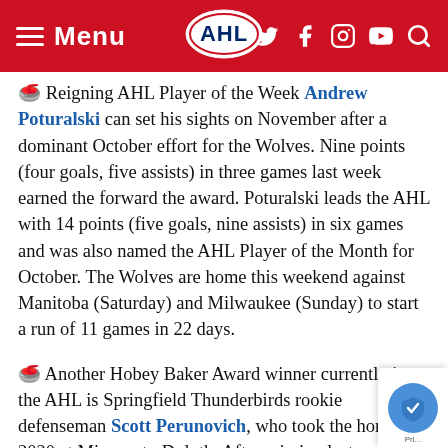Menu | AHL | [social icons]
🥌 Reigning AHL Player of the Week Andrew Poturalski can set his sights on November after a dominant October effort for the Wolves. Nine points (four goals, five assists) in three games last week earned the forward the award. Poturalski leads the AHL with 14 points (five goals, nine assists) in six games and was also named the AHL Player of the Month for October. The Wolves are home this weekend against Manitoba (Saturday) and Milwaukee (Sunday) to start a run of 11 games in 22 days.
🥌 Another Hobey Baker Award winner currently in the AHL is Springfield Thunderbirds rookie defenseman Scott Perunovich, who took the honor in 2020 at Minnesota-Duluth. After missing last season following shoulder surgery, the St. Louis Blues prospect will take a six-game point streak